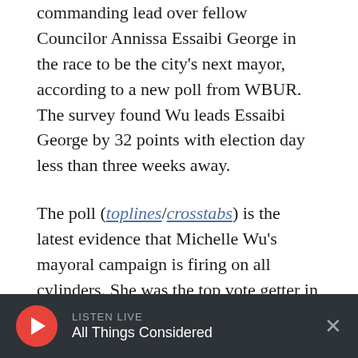commanding lead over fellow Councilor Annissa Essaibi George in the race to be the city's next mayor, according to a new poll from WBUR. The survey found Wu leads Essaibi George by 32 points with election day less than three weeks away.
The poll (toplines/crosstabs) is the latest evidence that Michelle Wu's mayoral campaign is firing on all cylinders. She was the top vote getter in Boston's preliminary election last month; since then, she has racked up significant endorsements, including nods from Congresswoman Ayanna Pressley and Sens.
LISTEN LIVE — All Things Considered